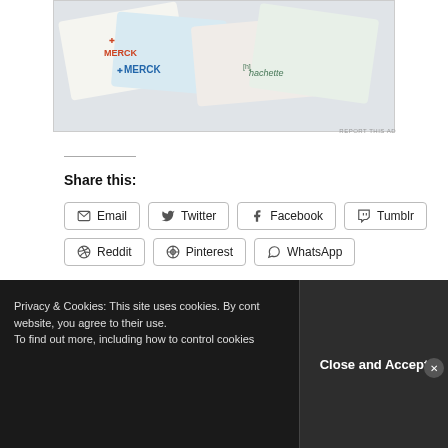[Figure (photo): Partial view of Merck and Hachette branded materials/packaging in a collage style]
REPORT THIS AD
Share this:
Email  Twitter  Facebook  Tumblr  Reddit  Pinterest  WhatsApp
Loading...
Privacy & Cookies: This site uses cookies. By continuing to use this website, you agree to their use. To find out more, including how to control cookies,
Close and Accept